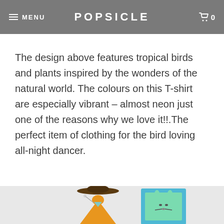MENU | POPSICLE | 0
The design above features tropical birds and plants inspired by the wonders of the natural world. The colours on this T-shirt are especially vibrant – almost neon just one of the reasons why we love it!!.The perfect item of clothing for the bird loving all-night dancer.
[Figure (illustration): Illustrated cartoon characters on a light grey background: an orange bird-like figure wearing a brown sombrero hat on the left, and a mint green rabbit-like character in a blue frame/mirror on the right.]